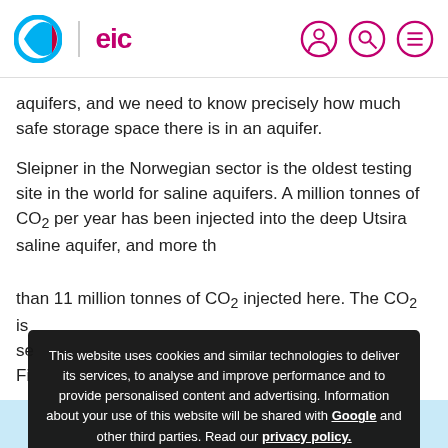EIC logo and navigation
aquifers, and we need to know precisely how much safe storage space there is in an aquifer.
Sleipner in the Norwegian sector is the oldest testing site in the world for saline aquifers. A million tonnes of CO₂ per year has been injected into the deep Utsira saline aquifer, and more than 11 million tonnes of CO₂ injected here. The CO₂ is se... Fi...
This website uses cookies and similar technologies to deliver its services, to analyse and improve performance and to provide personalised content and advertising. Information about your use of this website will be shared with Google and other third parties. Read our privacy policy.